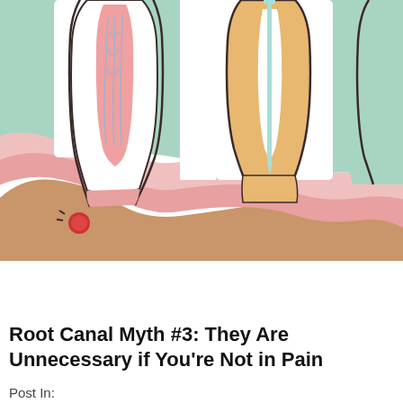[Figure (illustration): Cross-sectional dental illustration showing teeth anatomy and root canal treatment. Shows two teeth (labeled 1 and 2) embedded in jaw bone (brown). Tooth 1 shows internal nerve/pulp structure with blood vessels (pink and blue), a red abscess at the root tip, and surrounding gum tissue layers (pink, salmon). Tooth 2 shows a root canal file/instrument inserted into the canal, with orange-colored crown and surrounding gum. Background shows green and pink gum tissue layers. Numbers 1 and 2 are labeled below respective teeth in the jaw bone. Title text partially visible: 'ROOT CANAL T' (truncated).]
Root Canal Myth #3: They Are Unnecessary if You're Not in Pain
Post In: